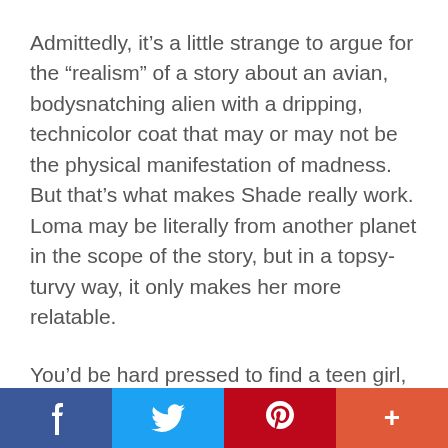Admittedly, it’s a little strange to argue for the “realism” of a story about an avian, bodysnatching alien with a dripping, technicolor coat that may or may not be the physical manifestation of madness. But that’s what makes Shade really work. Loma may be literally from another planet in the scope of the story, but in a topsy-turvy way, it only makes her more relatable.
You’d be hard pressed to find a teen girl, or a former teen girl, who won’t tell you that there were times they felt like an alien.
f  [twitter bird]  p  +